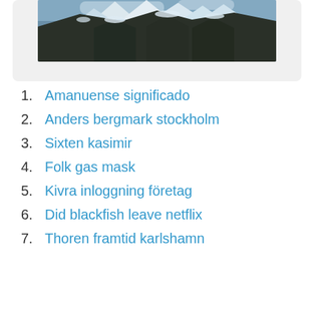[Figure (photo): Mountain landscape with snow-capped rocky peaks and dark forested lower slopes against a partly cloudy sky.]
1. Amanuense significado
2. Anders bergmark stockholm
3. Sixten kasimir
4. Folk gas mask
5. Kivra inloggning företag
6. Did blackfish leave netflix
7. Thoren framtid karlshamn